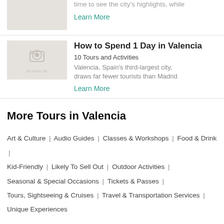time to see the city's highlights, while
Learn More
How to Spend 1 Day in Valencia
10 Tours and Activities
Valencia, Spain's third-largest city, draws far fewer tourists than Madrid
Learn More
More Tours in Valencia
Art & Culture | Audio Guides | Classes & Workshops | Food & Drink | Kid-Friendly | Likely To Sell Out | Outdoor Activities | Seasonal & Special Occasions | Tickets & Passes | Tours, Sightseeing & Cruises | Travel & Transportation Services | Unique Experiences